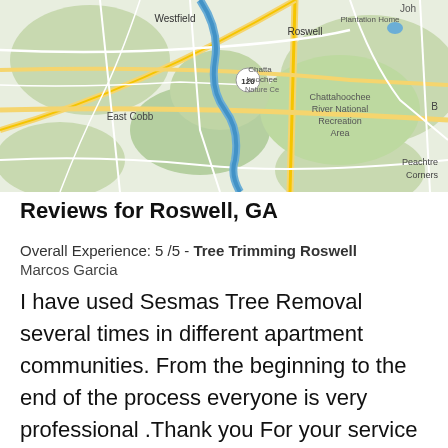[Figure (map): Google Maps screenshot showing Roswell, GA area including Westfield, Chattahoochee Nature Center, Chattahoochee River National Recreation Area, East Cobb, Peachtree Corners, and surrounding roads and green areas.]
Reviews for Roswell, GA
Overall Experience: 5 /5 - Tree Trimming Roswell
Marcos Garcia
I have used Sesmas Tree Removal several times in different apartment communities. From the beginning to the end of the process everyone is very professional .Thank you For your service all it takes a picture and a phone